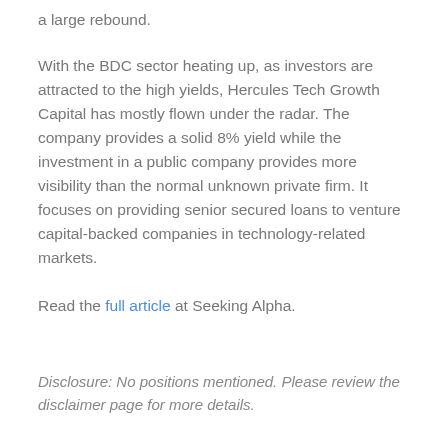a large rebound.
With the BDC sector heating up, as investors are attracted to the high yields, Hercules Tech Growth Capital has mostly flown under the radar. The company provides a solid 8% yield while the investment in a public company provides more visibility than the normal unknown private firm. It focuses on providing senior secured loans to venture capital-backed companies in technology-related markets.
Read the full article at Seeking Alpha.
Disclosure: No positions mentioned. Please review the disclaimer page for more details.